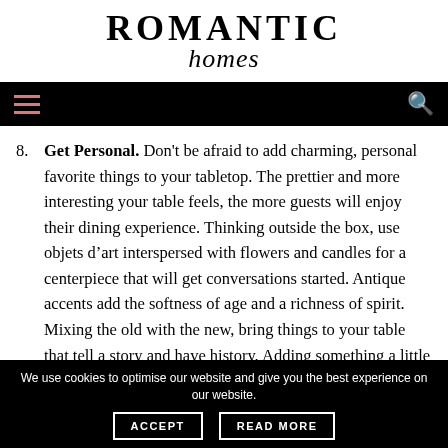ROMANTIC homes
8. Get Personal. Don't be afraid to add charming, personal favorite things to your tabletop. The prettier and more interesting your table feels, the more guests will enjoy their dining experience. Thinking outside the box, use objets d’art interspersed with flowers and candles for a centerpiece that will get conversations started. Antique accents add the softness of age and a richness of spirit. Mixing the old with the new, bring things to your table that tell a story and have history. Adding something a little quirky to your table will make it more appealing
We use cookies to optimise our website and give you the best experience on our website. ACCEPT READ MORE